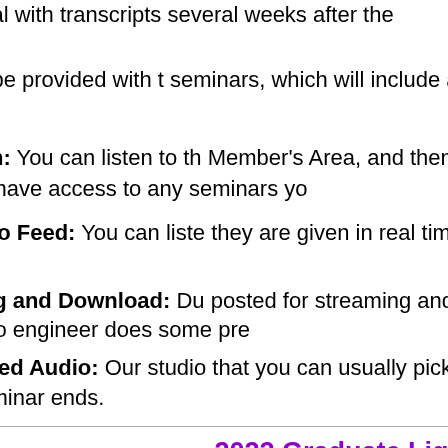A PDF manual with transcripts several weeks after the semina
A zip file will be provided with seminars, which will include a seminar.
Ways to Listen: You can listen to the Member's Area, and then clicking on will have access to any seminars yo
1. Live Audio Feed: You can liste they are given in real time by c
2. Streaming and Download: Du posted for streaming and dowr audio engineer does some pre
3. Final Edited Audio: Our studi that you can usually pick up the seminar ends.
2022 Graduate Ligh
Main Seminar, New Series